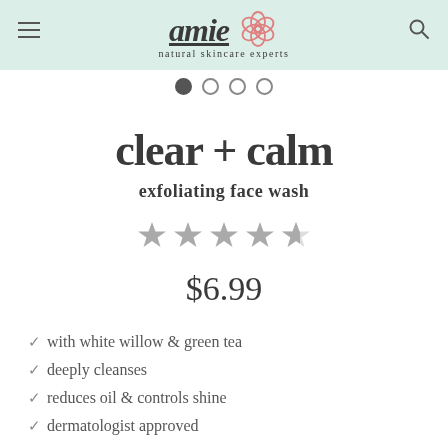[Figure (logo): Amie natural skincare experts logo with flower icon]
[Figure (other): Navigation dots: 4 dots, first filled]
clear + calm
exfoliating face wash
[Figure (other): Star rating: approximately 4.5 out of 5 stars]
$6.99
with white willow & green tea
deeply cleanses
reduces oil & controls shine
dermatologist approved